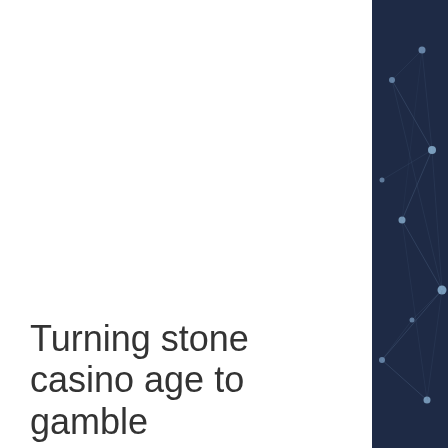Turning stone casino age to gamble
This was done by making it easier for the machine to work out when a win came up, and Fey achieved this by replacing the 5
[Figure (illustration): Dark navy blue side panel with network/nodes illustration — glowing dots connected by lines on dark background]